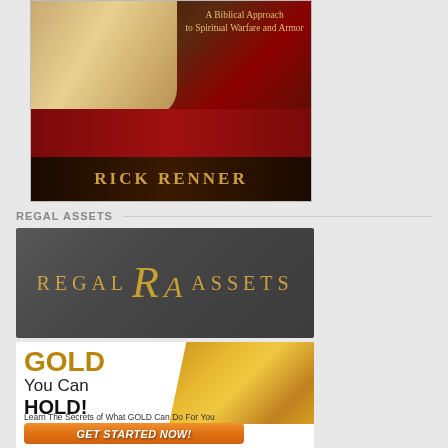[Figure (photo): Book cover showing 'A Biblical Approach to Spiritual Warfare and Armor' by Rick Renner, with scrolls and dark red background.]
REGAL ASSETS
[Figure (logo): Regal Assets logo on dark grey background with gold serif lettering and decorative RA monogram.]
[Figure (photo): Regal Assets advertisement showing gold bars with text 'GOLD You Can HOLD!', 'Learn The Secrets of What GOLD Can Do For You', and orange 'GET STARTED NOW!' button.]